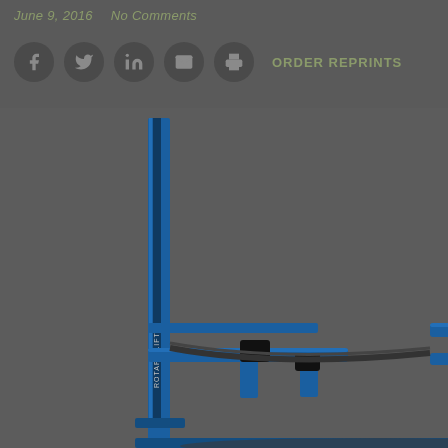June 9, 2016   No Comments
[Figure (other): Social media sharing icons: Facebook, Twitter, LinkedIn, Email, Print — followed by ORDER REPRINTS link]
[Figure (photo): Rotary Lift two-post automotive vehicle lift, blue colored, showing two columns with extended arms, photographed on a dark grey background]